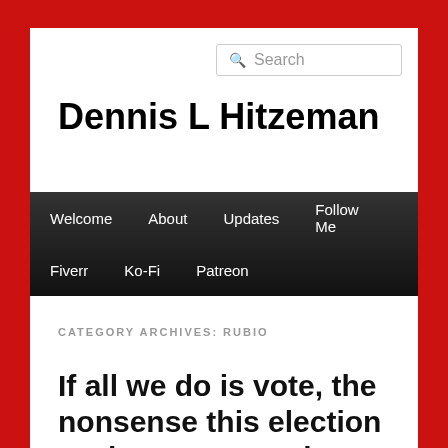Dennis L Hitzeman
[Figure (other): Search box with magnifying glass icon and placeholder text 'Search']
Welcome  About  Updates  Follow Me  Fiverr  Ko-Fi  Patreon
CATEGORY ARCHIVES: RUBIO
If all we do is vote, the nonsense this election cycle represents is